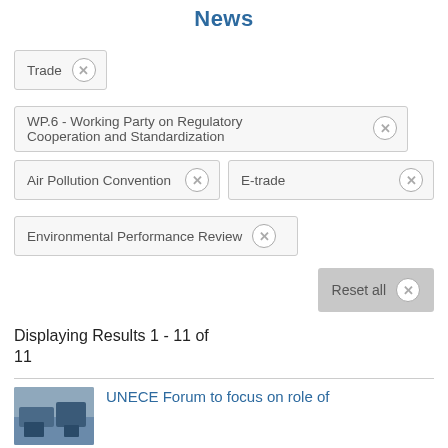News
Trade ×
WP.6 - Working Party on Regulatory Cooperation and Standardization ×
Air Pollution Convention × | E-trade ×
Environmental Performance Review ×
Reset all ×
Displaying Results 1 - 11 of 11
UNECE Forum to focus on role of